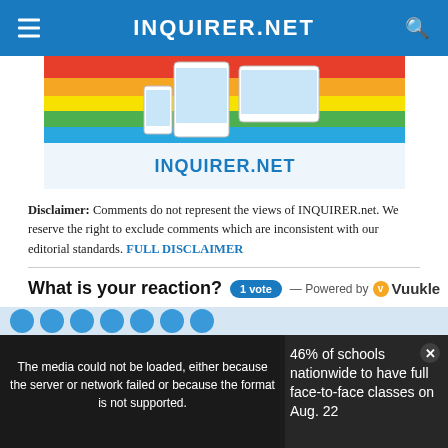INQUIRER.NET
[Figure (screenshot): INQUIRER.NET advertisement banner showing tablets and phones with colorful rainbow background and the text INQUIRER.NET]
Disclaimer: Comments do not represent the views of INQUIRER.net. We reserve the right to exclude comments which are inconsistent with our editorial standards. FULL DISCLAIMER
What is your reaction? 1 vote — Powered by Vuukle
[Figure (screenshot): Media player overlay showing error message: The media could not be loaded, either because the server or network failed or because the format is not supported. Right side shows text: 46% of schools nationwide to have full face-to-face classes on Aug. 22. Bottom shows: 46% OF SCHOOLS NATIONWIDE TO HAVE FULL FACE-TO-FACE CLASSES ON AUG. 22 with X close button.]